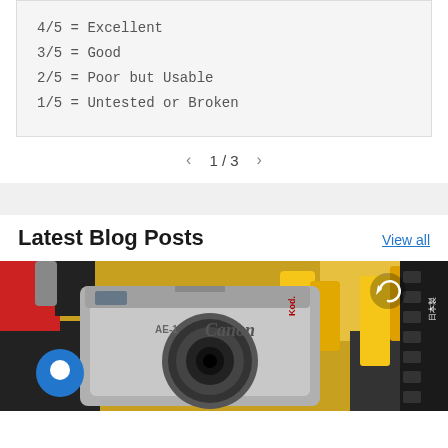4/5 = Excellent
3/5 = Good
2/5 = Poor but Usable
1/5 = Untested or Broken
1 / 3
Latest Blog Posts
View all
[Figure (photo): A Canon AE-1 film camera surrounded by colorful 35mm film canisters including Kodak and other brands, with a chat bubble icon overlay on the left and a rotate icon on the right.]